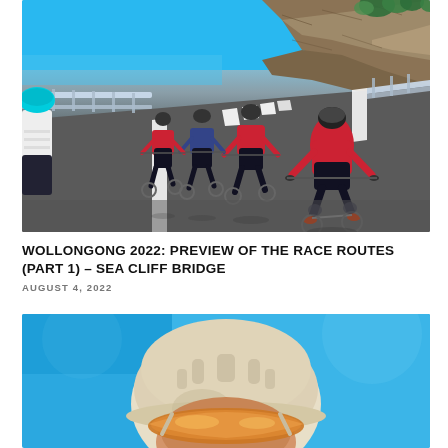[Figure (photo): Cyclists riding away from camera on Sea Cliff Bridge road with rocky cliff face on left and white guardrails, blue sky above]
WOLLONGONG 2022: PREVIEW OF THE RACE ROUTES (PART 1) – SEA CLIFF BRIDGE
AUGUST 4, 2022
[Figure (photo): Close-up of cyclist wearing a white/cream helmet with orange/reflective visor sunglasses against a blue sky background]